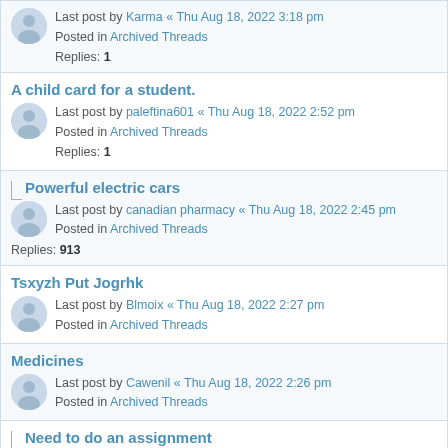Last post by Karma « Thu Aug 18, 2022 3:18 pm
Posted in Archived Threads
Replies: 1
A child card for a student.
Last post by paleftina601 « Thu Aug 18, 2022 2:52 pm
Posted in Archived Threads
Replies: 1
Powerful electric cars
Last post by canadian pharmacy « Thu Aug 18, 2022 2:45 pm
Posted in Archived Threads
Replies: 913
Tsxyzh Put Jogrhk
Last post by Blmoix « Thu Aug 18, 2022 2:27 pm
Posted in Archived Threads
Medicines
Last post by Cawenil « Thu Aug 18, 2022 2:26 pm
Posted in Archived Threads
Need to do an assignment
Last post by Guest « Thu Aug 18, 2022 2:19 pm
Posted in Archived Threads
Replies: 1241